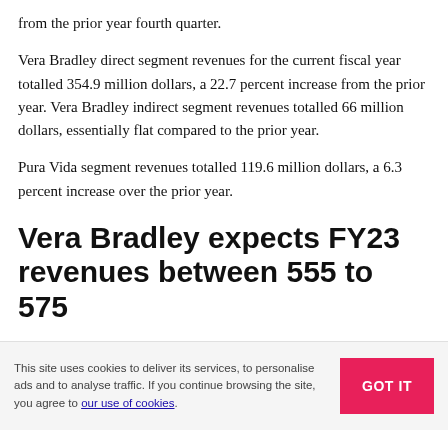from the prior year fourth quarter.
Vera Bradley direct segment revenues for the current fiscal year totalled 354.9 million dollars, a 22.7 percent increase from the prior year. Vera Bradley indirect segment revenues totalled 66 million dollars, essentially flat compared to the prior year.
Pura Vida segment revenues totalled 119.6 million dollars, a 6.3 percent increase over the prior year.
Vera Bradley expects FY23 revenues between 555 to 575
This site uses cookies to deliver its services, to personalise ads and to analyse traffic. If you continue browsing the site, you agree to our use of cookies.
545 7 million dollars in fiscal 2022...